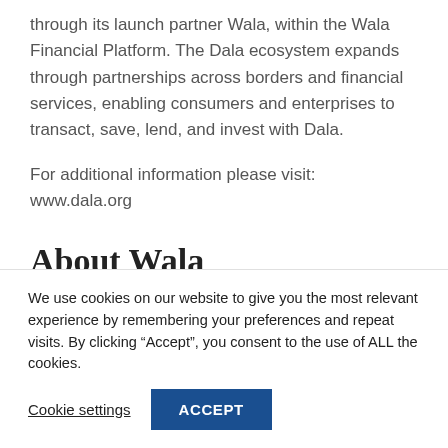through its launch partner Wala, within the Wala Financial Platform. The Dala ecosystem expands through partnerships across borders and financial services, enabling consumers and enterprises to transact, save, lend, and invest with Dala.

For additional information please visit:
www.dala.org
About Wala
We use cookies on our website to give you the most relevant experience by remembering your preferences and repeat visits. By clicking “Accept”, you consent to the use of ALL the cookies.
Cookie settings   ACCEPT